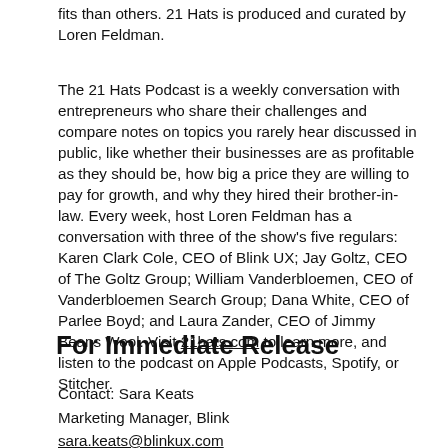fits than others. 21 Hats is produced and curated by Loren Feldman.
The 21 Hats Podcast is a weekly conversation with entrepreneurs who share their challenges and compare notes on topics you rarely hear discussed in public, like whether their businesses are as profitable as they should be, how big a price they are willing to pay for growth, and why they hired their brother-in-law. Every week, host Loren Feldman has a conversation with three of the show's five regulars: Karen Clark Cole, CEO of Blink UX; Jay Goltz, CEO of The Goltz Group; William Vanderbloemen, CEO of Vanderbloemen Search Group; Dana White, CEO of Parlee Boyd; and Laura Zander, CEO of Jimmy Beans Wool. Visit 21hats.com to learn more, and listen to the podcast on Apple Podcasts, Spotify, or Stitcher.
For Immediate Release
Contact: Sara Keats
Marketing Manager, Blink
sara.keats@blinkux.com
267 693 7289